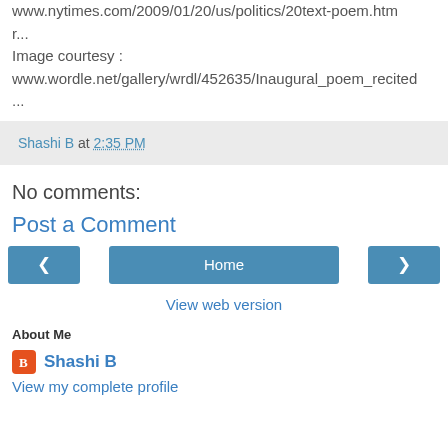www.nytimes.com/2009/01/20/us/politics/20text-poem.html
r...
Image courtesy :
www.wordle.net/gallery/wrdl/452635/Inaugural_poem_recited
...
Shashi B at 2:35 PM
No comments:
Post a Comment
[Figure (other): Navigation buttons: left arrow, Home, right arrow]
View web version
About Me
Shashi B
View my complete profile